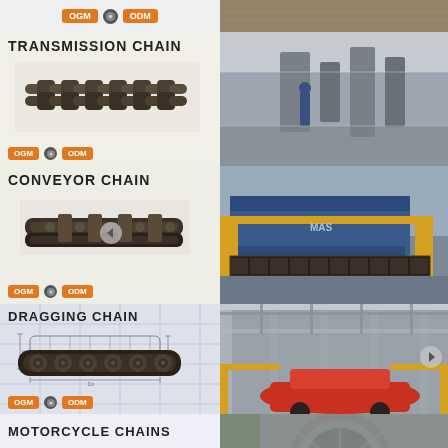[Figure (photo): Top banner with OGM/ODM badge and industrial background texture]
[Figure (photo): Transmission Chain section: roller chain product image on left, industrial factory floor photo on right]
TRANSMISSION CHAIN
[Figure (photo): OGM ODM badge bar below transmission chain section]
[Figure (photo): Conveyor Chain section: elongated conveyor chain product image on left, industrial conveyor machinery photo on right]
CONVEYOR CHAIN
[Figure (photo): OGM ODM badge bar below conveyor chain section]
[Figure (photo): Dragging Chain section: chain product image with technical drawing overlay on left, automotive assembly line photo on right]
DRAGGING CHAIN
[Figure (photo): OGM ODM badge bar below dragging chain section]
MOTORCYCLE CHAINS